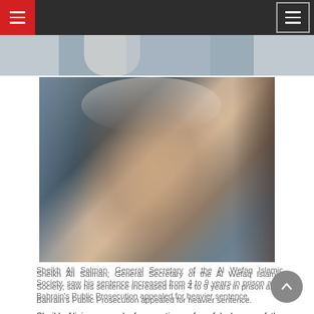Navigation bar with hamburger menus
[Figure (photo): Top partial photo showing people at a gathering, cropped at top]
[Figure (photo): Sheikh Ali Salman, a man wearing a white turban, surrounded by people at what appears to be a public gathering or protest]
Sheikh Ali Salman, General Secretary of the Al Wefaq Islamic Society, saw his sentence increased from 4 to 9 years in prison after Bahrain's Public Prosecution appealed for heavier sentence.
Sheikh Ali is accused of promoting a forceful change of the Kingdom's political system, threatening to use